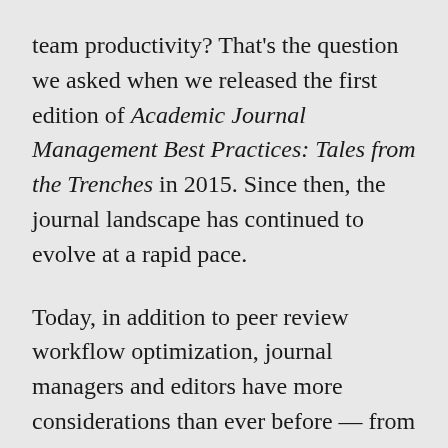team productivity? That's the question we asked when we released the first edition of Academic Journal Management Best Practices: Tales from the Trenches in 2015. Since then, the journal landscape has continued to evolve at a rapid pace.
Today, in addition to peer review workflow optimization, journal managers and editors have more considerations than ever before — from new metadata and indexing requirements to digital publishing standards to open access mandates, and the list goes on. Given the increasingly multifaceted nature of journal management and changing peer review and publishing norms, we thought it was time to update our content to the Academic Jour...